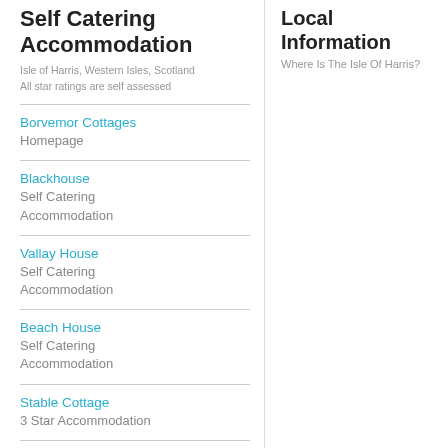Self Catering Accommodation
Isle of Harris, Western Isles, Scotland
All star ratings are self assessed
Borvemor Cottages
Homepage
Blackhouse
Self Catering Accommodation
Vallay House
Self Catering Accommodation
Beach House
Self Catering Accommodation
Stable Cottage
3 Star Accommodation
Byre Cottage
3 Star Accommodation
Booking & Information
Local Information
Where Is The Isle Of Harris?